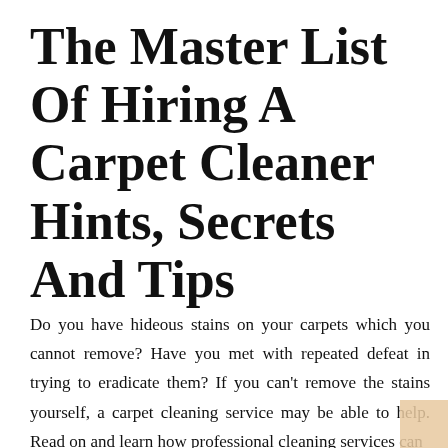The Master List Of Hiring A Carpet Cleaner Hints, Secrets And Tips
Do you have hideous stains on your carpets which you cannot remove? Have you met with repeated defeat in trying to eradicate them? If you can't remove the stains yourself, a carpet cleaning service may be able to help. Read on and learn how professional cleaning services can